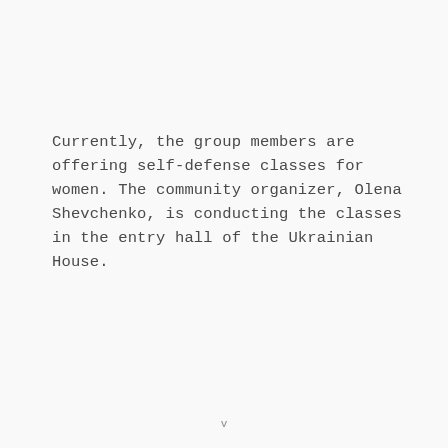Currently, the group members are offering self-defense classes for women. The community organizer, Olena Shevchenko, is conducting the classes in the entry hall of the Ukrainian House.
v